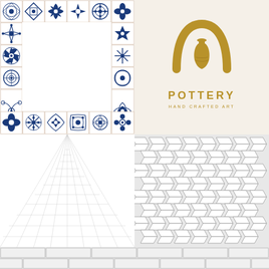[Figure (illustration): Decorative blue and white Portuguese/Moroccan style tile frame border with floral and geometric patterns, arranged in a square frame shape with white center]
[Figure (logo): Pottery hand crafted art logo with a golden/amber colored pottery vase silhouette inside a horseshoe/crescent shape, with text POTTERY and HAND CRAFTED ART below]
[Figure (illustration): White tile floor in perspective view with receding grid lines creating a 3D floor effect]
[Figure (illustration): Herringbone/chevron pattern white tiles arranged in diagonal brick pattern with gray grout lines]
[Figure (illustration): White subway tiles arranged in horizontal rows with gray grout lines, two rows visible]